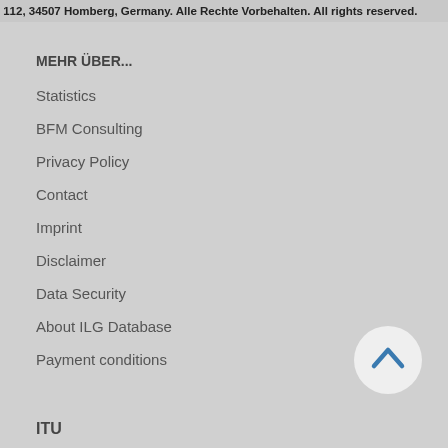112, 34507 Homberg, Germany. Alle Rechte Vorbehalten. All rights reserved.
MEHR ÜBER...
Statistics
BFM Consulting
Privacy Policy
Contact
Imprint
Disclaimer
Data Security
About ILG Database
Payment conditions
[Figure (illustration): Scroll-to-top button: circular white/light-gray button with a blue chevron/caret pointing upward]
ITU